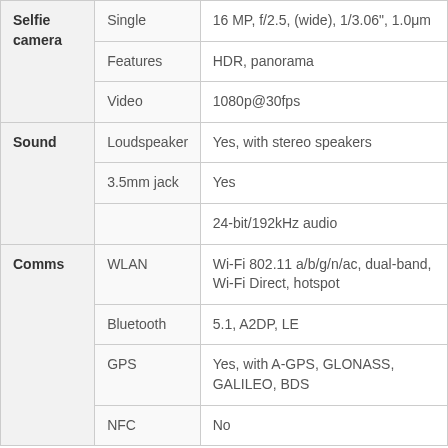| Category | Subcategory | Details |
| --- | --- | --- |
| Selfie camera | Single | 16 MP, f/2.5, (wide), 1/3.06", 1.0μm |
|  | Features | HDR, panorama |
|  | Video | 1080p@30fps |
| Sound | Loudspeaker | Yes, with stereo speakers |
|  | 3.5mm jack | Yes |
|  |  | 24-bit/192kHz audio |
| Comms | WLAN | Wi-Fi 802.11 a/b/g/n/ac, dual-band, Wi-Fi Direct, hotspot |
|  | Bluetooth | 5.1, A2DP, LE |
|  | GPS | Yes, with A-GPS, GLONASS, GALILEO, BDS |
|  | NFC | No |